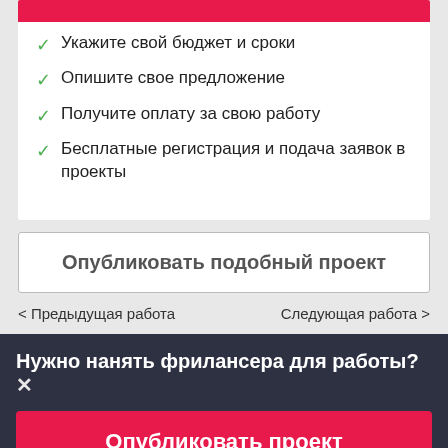Укажите свой бюджет и сроки
Опишите свое предложение
Получите оплату за свою работу
Бесплатные регистрация и подача заявок в проекты
Опубликовать подобный проект
< Предыдущая работа
Следующая работа >
Нужно нанять фрилансера для работы?✕
Опубликовать проект